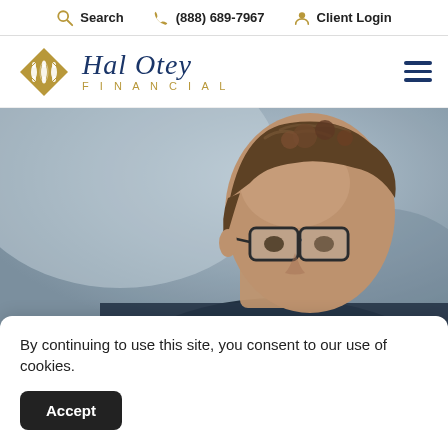Search  (888) 689-7967  Client Login
[Figure (logo): Hal Otey Financial logo with gold diamond emblem and navy script text]
[Figure (photo): Close-up photo of a man with glasses and wavy brown hair, blurred background]
By continuing to use this site, you consent to our use of cookies.
Accept